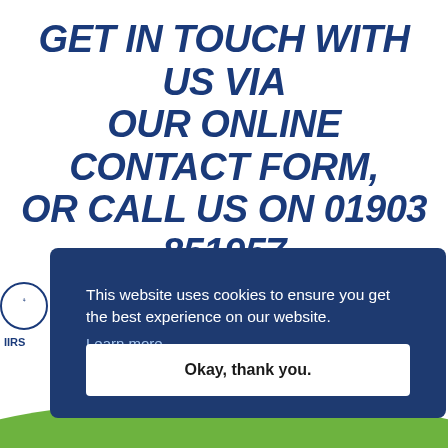GET IN TOUCH WITH US VIA OUR ONLINE CONTACT FORM, OR CALL US ON 01903 851957 FOR MORE INFORMATION
This website uses cookies to ensure you get the best experience on our website. Learn more
Okay, thank you.